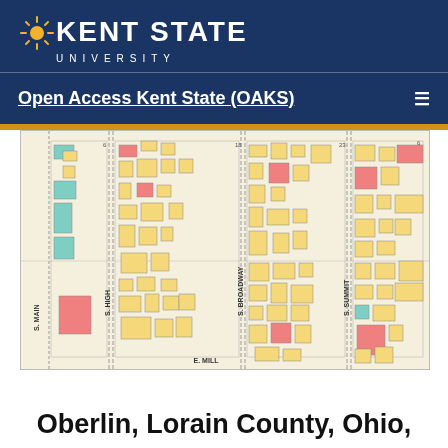KENT STATE UNIVERSITY
Open Access Kent State (OAKS)
[Figure (map): Sanborn fire insurance map showing Oberlin, Ohio street grid with color-coded buildings. Streets labeled include S. Main, S. High, S. Broadway, S. Summit, and E. Mill. Buildings shown in yellow, pink, and teal/green colors indicating different construction types.]
Oberlin, Lorain County, Ohio,